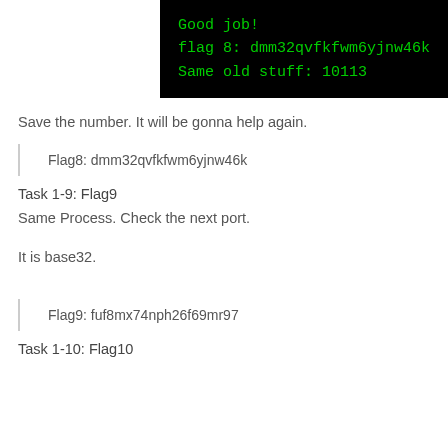[Figure (screenshot): Black terminal window showing green monospace text: 'Good job! / flag 8: dmm32qvfkfwm6yjnw46k / Same old stuff: 10113']
Save the number. It will be gonna help again.
Flag8: dmm32qvfkfwm6yjnw46k
Task 1-9: Flag9
Same Process. Check the next port.
It is base32.
Flag9: fuf8mx74nph26f69mr97
Task 1-10: Flag10